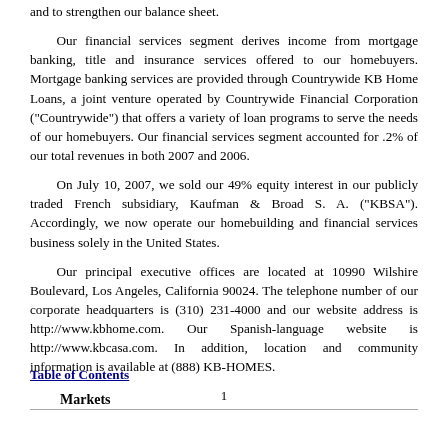and to strengthen our balance sheet.
Our financial services segment derives income from mortgage banking, title and insurance services offered to our homebuyers. Mortgage banking services are provided through Countrywide KB Home Loans, a joint venture operated by Countrywide Financial Corporation ("Countrywide") that offers a variety of loan programs to serve the needs of our homebuyers. Our financial services segment accounted for .2% of our total revenues in both 2007 and 2006.
On July 10, 2007, we sold our 49% equity interest in our publicly traded French subsidiary, Kaufman & Broad S. A. ("KBSA"). Accordingly, we now operate our homebuilding and financial services business solely in the United States.
Our principal executive offices are located at 10990 Wilshire Boulevard, Los Angeles, California 90024. The telephone number of our corporate headquarters is (310) 231-4000 and our website address is http://www.kbhome.com. Our Spanish-language website is http://www.kbcasa.com. In addition, location and community information is available at (888) KB-HOMES.
1
Table of Contents
Markets